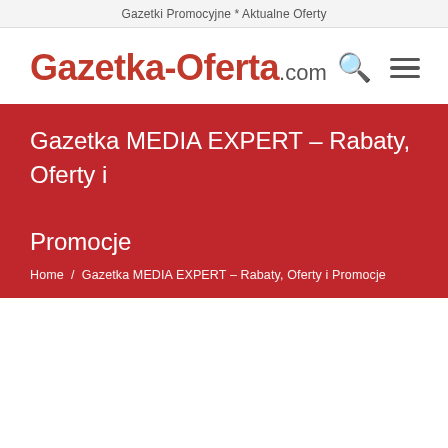Gazetki Promocyjne * Aktualne Oferty
Gazetka-Oferta.com
Gazetka MEDIA EXPERT – Rabaty, Oferty i Promocje
Home / Gazetka MEDIA EXPERT – Rabaty, Oferty i Promocje